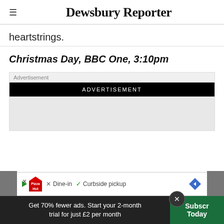Dewsbury Reporter
heartstrings.
Christmas Day, BBC One, 3:10pm
[Figure (other): Advertisement placeholder area with 'Advertisement' label and 'ADVERTISEMENT' black banner]
[Figure (other): Pizza Hut advertisement banner showing: Dine-in (X), Curbside pickup (checkmark), with navigation icon]
Get 70% fewer ads. Start your 2-month trial for just £2 per month
Subscribe Today